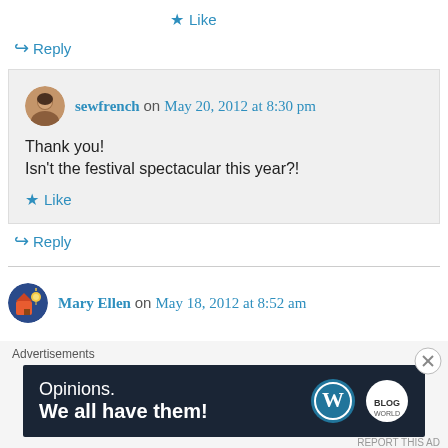★ Like
↳ Reply
sewfrench on May 20, 2012 at 8:30 pm
Thank you!
Isn't the festival spectacular this year?!
★ Like
↳ Reply
Mary Ellen on May 18, 2012 at 8:52 am
Advertisements
[Figure (infographic): WordPress advertisement banner: 'Opinions. We all have them!' with WordPress logo and another circular logo on dark navy background]